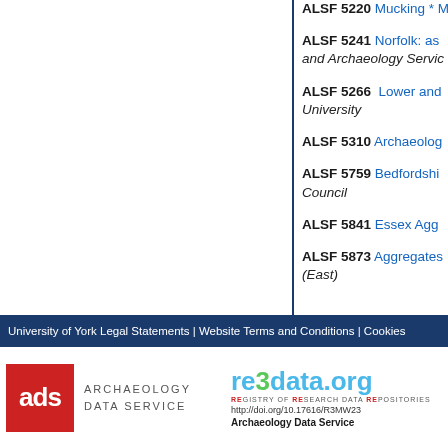ALSF 5220 Mucking * M
ALSF 5241 Norfolk: as and Archaeology Servic
ALSF 5266 Lower and University
ALSF 5310 Archaeolog
ALSF 5759 Bedfordshi Council
ALSF 5841 Essex Agg
ALSF 5873 Aggregates (East)
University of York Legal Statements | Website Terms and Conditions | Cookies
[Figure (logo): Archaeology Data Service (ADS) logo — red square with 'ads' text and 'ARCHAEOLOGY DATA SERVICE' label]
[Figure (logo): re3data.org logo — Registry of Research Data Repositories, with URL http://doi.org/10.17616/R3MW23 and Archaeology Data Service text]